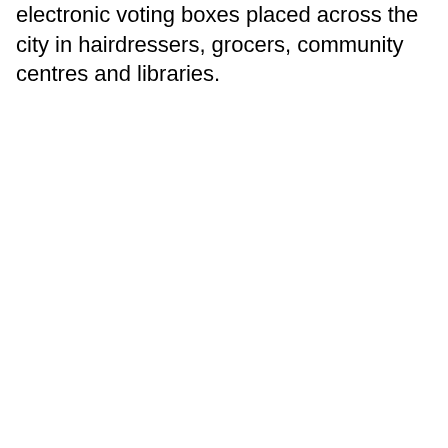electronic voting boxes placed across the city in hairdressers, grocers, community centres and libraries.